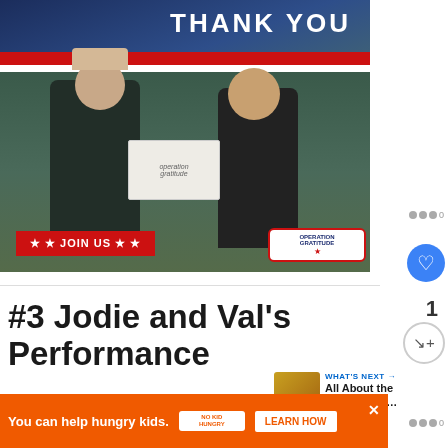[Figure (photo): Photo of a military service member receiving a care package box from a civilian woman, with 'THANK YOU' text at top, red/white stripes, 'JOIN US' red banner at bottom left, and 'OPERATION GRATITUDE' logo at bottom right]
#3 Jodie and Val's Performance
[Figure (photo): WHAT'S NEXT thumbnail - All About the Latest Seas...]
Jodi... e... al... he Jet
[Figure (infographic): Advertisement banner: 'You can help hungry kids.' No Kid Hungry logo, LEARN HOW button, orange background]